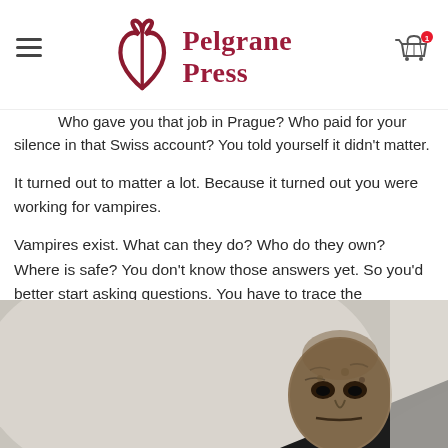Pelgrane Press
Who gave you that job in Prague? Who paid for your silence in that Swiss account? You told yourself it didn't matter.
It turned out to matter a lot. Because it turned out you were working for vampires.
Vampires exist. What can they do? Who do they own? Where is safe? You don't know those answers yet. So you'd better start asking questions. You have to trace the bloodsuckers' operations, penetrate their networks, follow their trail, and target their weak points. Because if you don't hunt them, they will hunt you. And they will kill you.
[Figure (photo): Close-up photo of a grotesque vampire creature head with wrinkled skin and dark features, wearing a black leather jacket, positioned in the lower right portion of the image.]